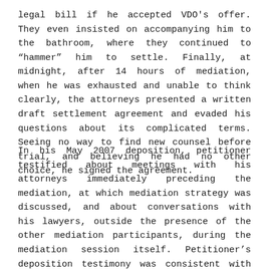legal bill if he accepted VDO's offer. They even insisted on accompanying him to the bathroom, where they continued to "hammer" him to settle. Finally, at midnight, after 14 hours of mediation, when he was exhausted and unable to think clearly, the attorneys presented a written draft settlement agreement and evaded his questions about its complicated terms. Seeing no way to find new counsel before trial, and believing he had no other choice, he signed the agreement.
In his May 2007 deposition, petitioner testified about meetings with his attorneys immediately preceding the mediation, at which mediation strategy was discussed, and about conversations with his lawyers, outside the presence of the other mediation participants, during the mediation session itself. Petitioner's deposition testimony was consistent with the complaint's claims that his